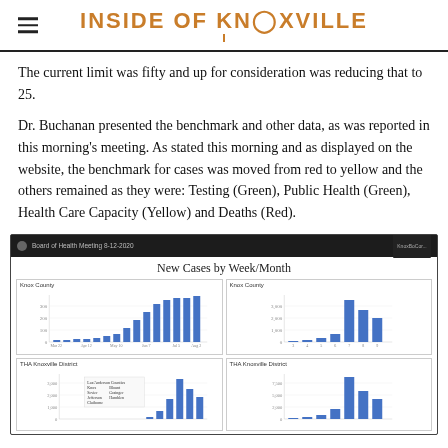INSIDE OF KNOXVILLE
The current limit was fifty and up for consideration was reducing that to 25.
Dr. Buchanan presented the benchmark and other data, as was reported in this morning's meeting. As stated this morning and as displayed on the website, the benchmark for cases was moved from red to yellow and the others remained as they were: Testing (Green), Public Health (Green), Health Care Capacity (Yellow) and Deaths (Red).
[Figure (screenshot): Screenshot of a video conference (Board of Health Meeting 8-12-2020) showing a dashboard titled 'New Cases by Week/Month' with four bar charts: Knox County (weekly and monthly) and THA Knoxville District (weekly and monthly), displayed on a dark background with a small video thumbnail in the top right corner.]